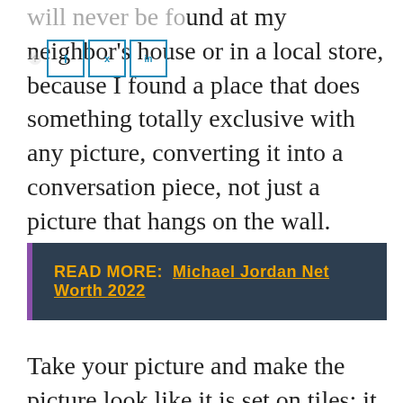will never be found at my neighbor's house or in a local store, because I found a place that does something totally exclusive with any picture, converting it into a conversation piece, not just a picture that hangs on the wall.
READ MORE:  Michael Jordan Net Worth 2022
Take your picture and make the picture look like it is set on tiles; it now appears that you are looking through a window at your picture and also adding depth to the picture at the same time. This is truly a one-of-a-kind appearance all of its own, which I personally love. The end